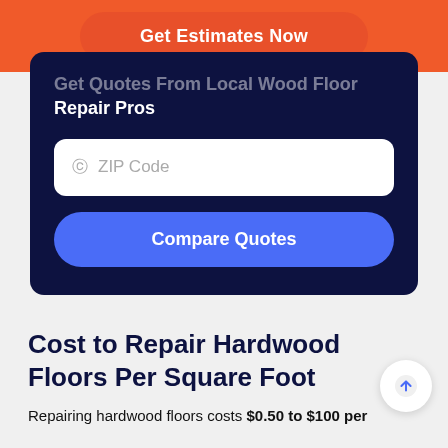Get Estimates Now
Get Quotes From Local Wood Floor Repair Pros
ZIP Code
Compare Quotes
Cost to Repair Hardwood Floors Per Square Foot
Repairing hardwood floors costs $0.50 to $100 per